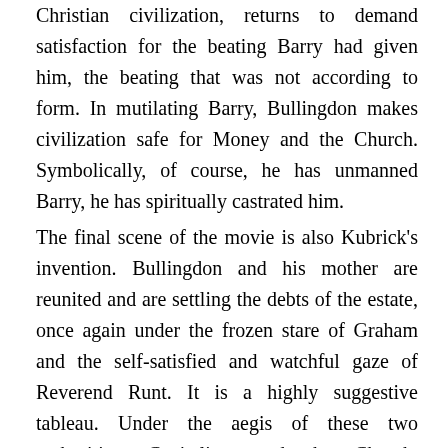Christian civilization, returns to demand satisfaction for the beating Barry had given him, the beating that was not according to form. In mutilating Barry, Bullingdon makes civilization safe for Money and the Church. Symbolically, of course, he has unmanned Barry, he has spiritually castrated him.
The final scene of the movie is also Kubrick's invention. Bullingdon and his mother are reunited and are settling the debts of the estate, once again under the frozen stare of Graham and the self-satisfied and watchful gaze of Reverend Runt. It is a highly suggestive tableau. Under the aegis of these two authorities, Capitalism and the Church, Western civilization marches its relentless way to the apocalypse